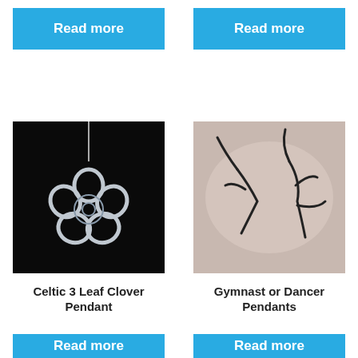Read more
Read more
[Figure (photo): Celtic 3 Leaf Clover silver pendant on a chain, photographed against a black background]
Celtic 3 Leaf Clover Pendant
[Figure (photo): Two silver gymnast or dancer figure pendants on a light pinkish-gray background]
Gymnast or Dancer Pendants
Read more
Read more